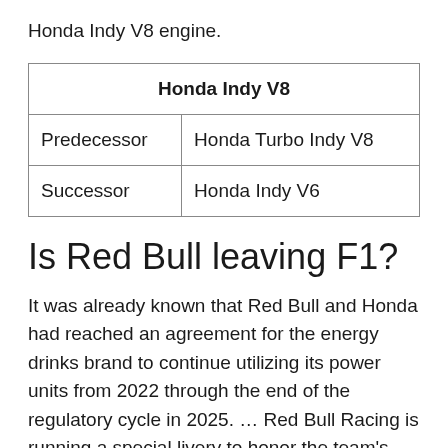Honda Indy V8 engine.
| Honda Indy V8 |
| --- |
| Predecessor | Honda Turbo Indy V8 |
| Successor | Honda Indy V6 |
Is Red Bull leaving F1?
It was already known that Red Bull and Honda had reached an agreement for the energy drinks brand to continue utilizing its power units from 2022 through the end of the regulatory cycle in 2025. … Red Bull Racing is running a special livery to honor the team's relationship with Honda at the F1 Td bls Grind St b...